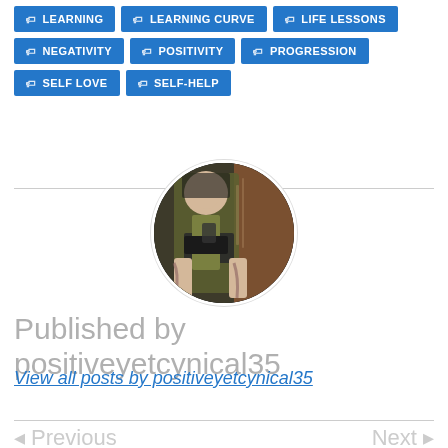LEARNING
LEARNING CURVE
LIFE LESSONS
NEGATIVITY
POSITIVITY
PROGRESSION
SELF LOVE
SELF-HELP
[Figure (photo): Circular profile photo of a person wearing a green dress with a black belt, taking a mirror selfie, with tattoos visible on their arm.]
Published by positiveyetcynical35
View all posts by positiveyetcynical35
◂ Previous
Next ▸